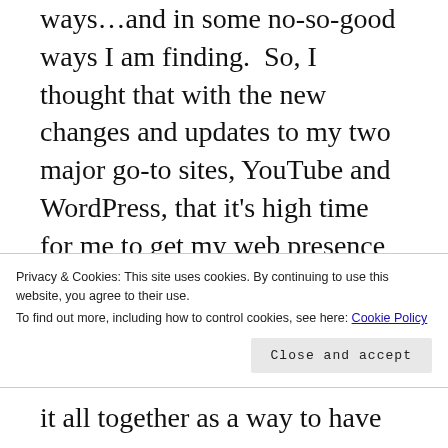ways…and in some no-so-good ways I am finding.  So, I thought that with the new changes and updates to my two major go-to sites, YouTube and WordPress, that it's high time for me to get my web presence shit together.
This will be the focus of my weekend.  I've been reading up and watching videos on all of the new things we can do on both sites, the costs associated with upgrading
Privacy & Cookies: This site uses cookies. By continuing to use this website, you agree to their use.
To find out more, including how to control cookies, see here: Cookie Policy
it all together as a way to have